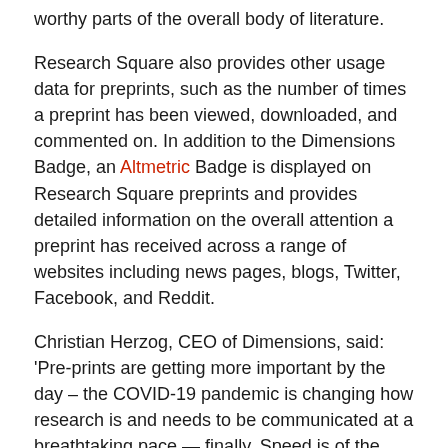worthy parts of the overall body of literature.
Research Square also provides other usage data for preprints, such as the number of times a preprint has been viewed, downloaded, and commented on. In addition to the Dimensions Badge, an Altmetric Badge is displayed on Research Square preprints and provides detailed information on the overall attention a preprint has received across a range of websites including news pages, blogs, Twitter, Facebook, and Reddit.
Christian Herzog, CEO of Dimensions, said: 'Pre-prints are getting more important by the day – the COVID-19 pandemic is changing how research is and needs to be communicated at a breathtaking pace — finally. Speed is of the essence obviously, openness as well – and that is exactly why we include pre-prints in Dimensions which is updated daily. The Altmetric and Dimensions Badges are now adding much-needed context to the pre-prints and we are excited that they are provided to the reader in context, on the Research Square platform.'